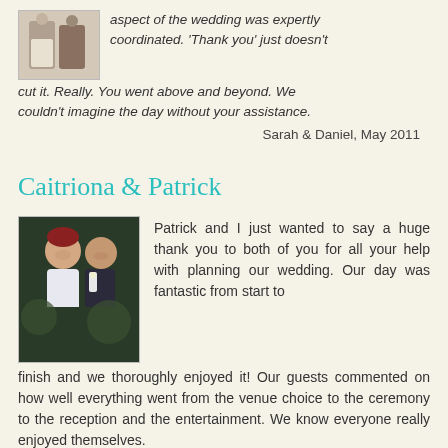[Figure (photo): Wedding couple photo, partially visible at top left]
aspect of the wedding was expertly coordinated. 'Thank you' just doesn't cut it. Really. You went above and beyond. We couldn't imagine the day without your assistance.
Sarah & Daniel, May 2011
Caitriona & Patrick
[Figure (photo): Photo of Caitriona and Patrick, a couple smiling, outdoors/dark background]
Patrick and I just wanted to say a huge thank you to both of you for all your help with planning our wedding. Our day was fantastic from start to finish and we thoroughly enjoyed it! Our guests commented on how well everything went from the venue choice to the ceremony to the reception and the entertainment. We know everyone really enjoyed themselves.